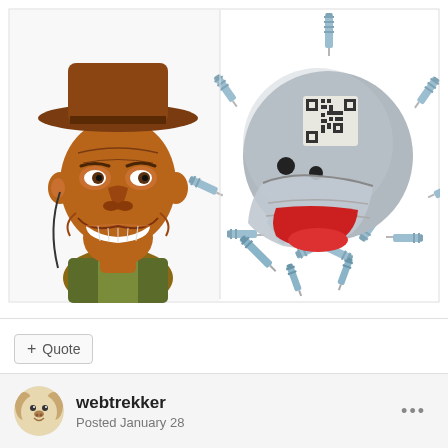[Figure (illustration): A meme image in two panels: left side shows a caricature of a smiling man wearing a brown cowboy hat with tan/brown skin tones; right side shows a cartoon COVID-19 virus character covered in syringes/vaccines, with a gray face, black dots for eyes, red open mouth, wearing a mask, with syringes radiating outward like spikes, and a QR code on the forehead.]
+ Quote
webtrekker
Posted January 28